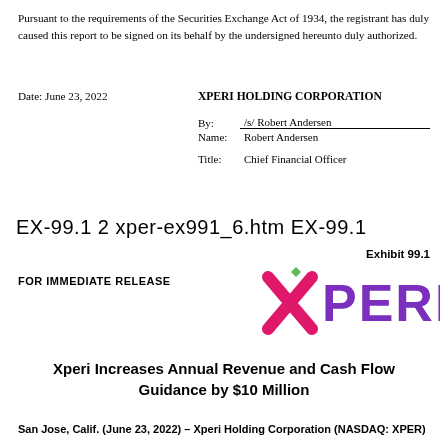Pursuant to the requirements of the Securities Exchange Act of 1934, the registrant has duly caused this report to be signed on its behalf by the undersigned hereunto duly authorized.
Date: June 23, 2022

XPERI HOLDING CORPORATION

By: /s/ Robert Andersen
Name: Robert Andersen
Title: Chief Financial Officer
EX-99.1 2 xper-ex991_6.htm EX-99.1
Exhibit 99.1
FOR IMMEDIATE RELEASE
[Figure (logo): Xperi logo with stylized X in pink/magenta and PERI in purple, with a green diamond above]
Xperi Increases Annual Revenue and Cash Flow Guidance by $10 Million
San Jose, Calif. (June 23, 2022) – Xperi Holding Corporation (NASDAQ: XPER)